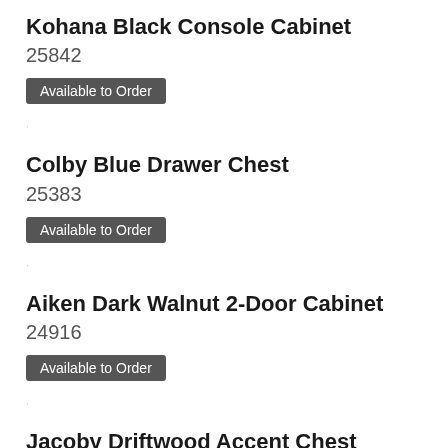Kohana Black Console Cabinet
25842
Available to Order
Colby Blue Drawer Chest
25383
Available to Order
Aiken Dark Walnut 2-Door Cabinet
24916
Available to Order
Jacoby Driftwood Accent Chest